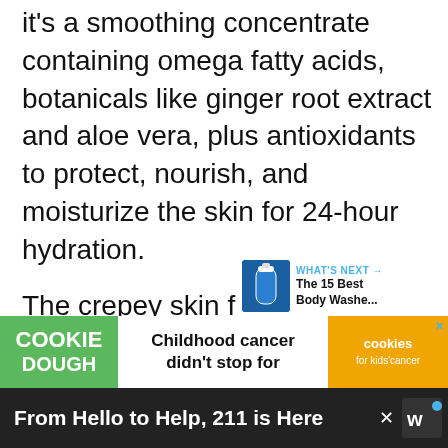it's a smoothing concentrate containing omega fatty acids, botanicals like ginger root extract and aloe vera, plus antioxidants to protect, nourish, and moisturize the skin for 24-hour hydration.
The crepey skin formula contains 7 moisturizers, like glycerin and jojoba esters, and 3 vitamins, including vitamin E, which provides photoprotection against damaging UVB rays.
[Figure (other): What's Next panel with product image and text 'The 15 Best Body Washe...']
[Figure (other): Cookie Dough advertisement: 'Childhood cancer didn't stop for cookies for kids cancer']
From Hello to Help, 211 is Here